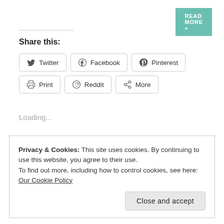[Figure (other): READ MORE » button in teal/green color at top right]
Share this:
Twitter
Facebook
Pinterest
Print
Reddit
More
Loading...
Privacy & Cookies: This site uses cookies. By continuing to use this website, you agree to their use.
To find out more, including how to control cookies, see here: Our Cookie Policy
Close and accept